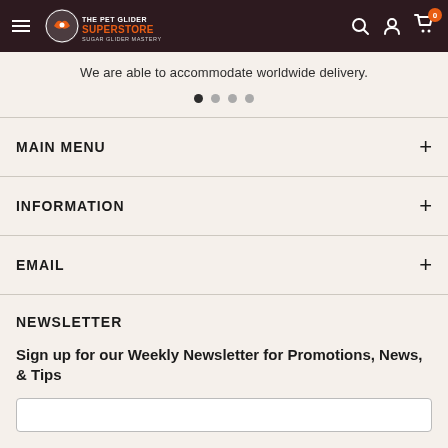The Pet Glider Superstore - Sugar Glider Mastery
We are able to accommodate worldwide delivery.
MAIN MENU
INFORMATION
EMAIL
NEWSLETTER
Sign up for our Weekly Newsletter for Promotions, News, & Tips